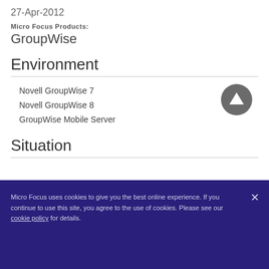27-Apr-2012
Micro Focus Products:
GroupWise
Environment
Novell GroupWise 7
Novell GroupWise 8
GroupWise Mobile Server
Situation
Micro Focus uses cookies to give you the best online experience. If you continue to use this site, you agree to the use of cookies. Please see our cookie policy for details.